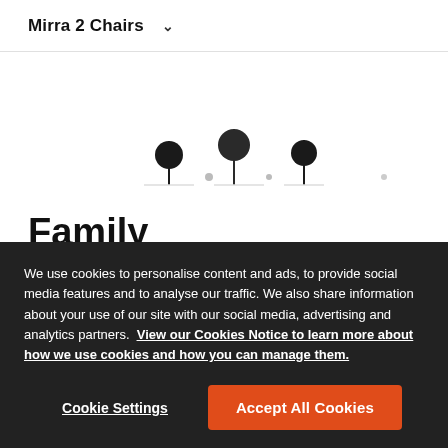Mirra 2 Chairs
[Figure (photo): Row of small chair/stool silhouette icons in dark color on white background]
Family
Mirra 2 work chairs and stools are both available in two back options, either the flexible TriFlex back or
We use cookies to personalise content and ads, to provide social media features and to analyse our traffic. We also share information about your use of our site with our social media, advertising and analytics partners. View our Cookies Notice to learn more about how we use cookies and how you can manage them.
Cookie Settings
Accept All Cookies